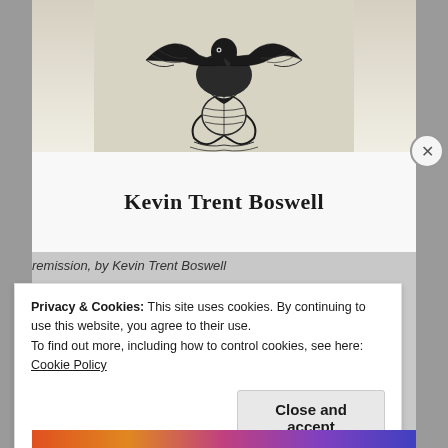[Figure (photo): A photograph of a book cover showing a vintage eagle illustration and the author name 'Kevin Trent Boswell' printed in serif font on a white band at the bottom of the cover. The book is resting on grey fabric.]
remission, by Kevin Trent Boswell
Privacy & Cookies: This site uses cookies. By continuing to use this website, you agree to their use.
To find out more, including how to control cookies, see here:
Cookie Policy
Close and accept